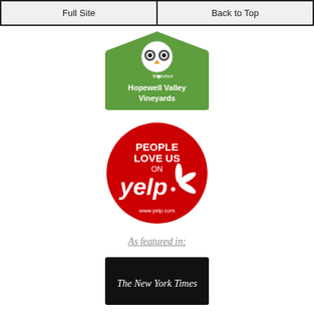Full Site | Back to Top
[Figure (logo): TripAdvisor badge for Hopewell Valley Vineyards — green banner with owl logo and text 'Hopewell Valley Vineyards']
[Figure (logo): Yelp badge — red circle with text 'PEOPLE LOVE US ON yelp' and Yelp logo with burst, www.yelp.com at bottom]
As featured in:
[Figure (logo): The New York Times logo on black background]